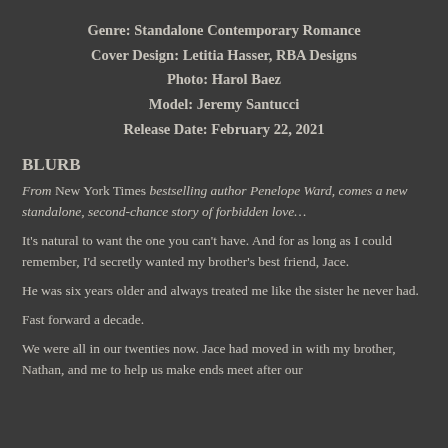Genre: Standalone Contemporary Romance
Cover Design: Letitia Hasser, RBA Designs
Photo: Harol Baez
Model: Jeremy Santucci
Release Date: February 22, 2021
BLURB
From New York Times bestselling author Penelope Ward, comes a new standalone, second-chance story of forbidden love…
It's natural to want the one you can't have. And for as long as I could remember, I'd secretly wanted my brother's best friend, Jace.
He was six years older and always treated me like the sister he never had.
Fast forward a decade.
We were all in our twenties now. Jace had moved in with my brother, Nathan, and me to help us make ends meet after our